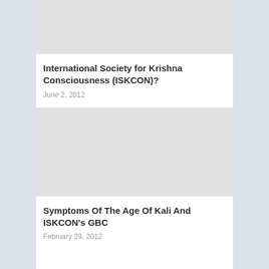[Figure (photo): Placeholder image for article about International Society for Krishna Consciousness (ISKCON)]
International Society for Krishna Consciousness (ISKCON)?
June 2, 2012
[Figure (photo): Placeholder image for article about Symptoms Of The Age Of Kali And ISKCON's GBC]
Symptoms Of The Age Of Kali And ISKCON's GBC
February 29, 2012